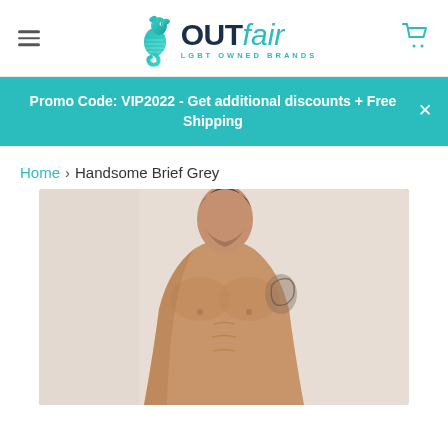OUTfair LGBT OWNED BRANDS
Promo Code: VIP2022 - Get additional discounts + Free Shipping
Home › Handsome Brief Grey
[Figure (photo): A muscular shirtless man with a tattoo on his shoulder, photographed against a light background, modeling underwear (Handsome Brief Grey).]